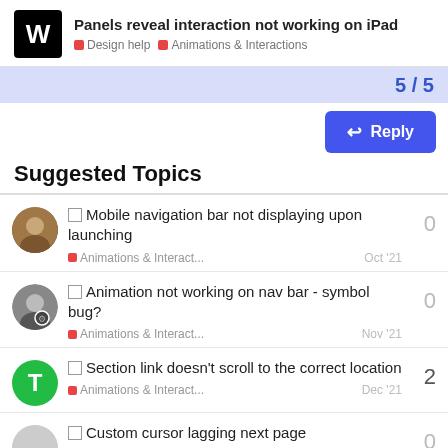Panels reveal interaction not working on iPad — Design help, Animations & Interactions
Suggested Topics
Mobile navigation bar not displaying upon launching — Animations & Interact... — Oct '21 — 0 replies
Animation not working on nav bar - symbol bug? — Animations & Interact... — Nov '21 — 0 replies
Section link doesn't scroll to the correct location — Animations & Interact... — Dec '21 — 2 replies
Custom cursor lagging next page — Animations & Interact... — Jan — 0 replies